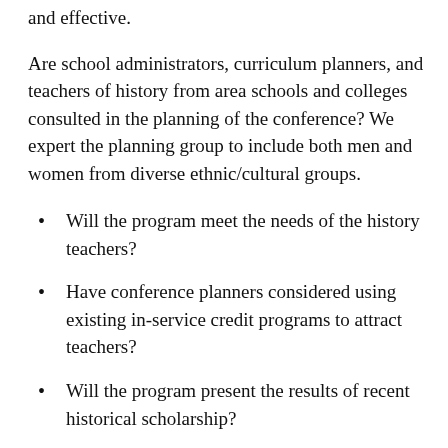and effective.
Are school administrators, curriculum planners, and teachers of history from area schools and colleges consulted in the planning of the conference? We expert the planning group to include both men and women from diverse ethnic/cultural groups.
Will the program meet the needs of the history teachers?
Have conference planners considered using existing in-service credit programs to attract teachers?
Will the program present the results of recent historical scholarship?
What is the rationale for this program? We encourage programs which are coherent in terms of breadth or depth.
Does this program offer practical ways for teachers